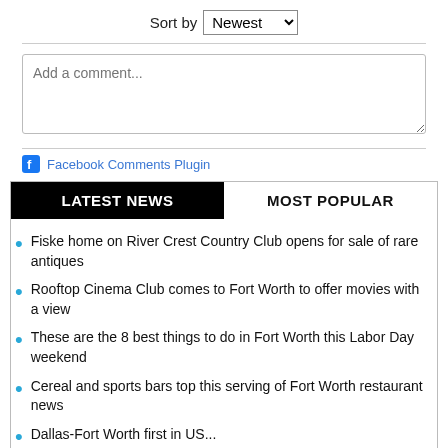Sort by Newest
[Figure (screenshot): Comment text area with placeholder 'Add a comment...']
Facebook Comments Plugin
LATEST NEWS | MOST POPULAR
Fiske home on River Crest Country Club opens for sale of rare antiques
Rooftop Cinema Club comes to Fort Worth to offer movies with a view
These are the 8 best things to do in Fort Worth this Labor Day weekend
Cereal and sports bars top this serving of Fort Worth restaurant news
Dallas-Fort Worth first in US...